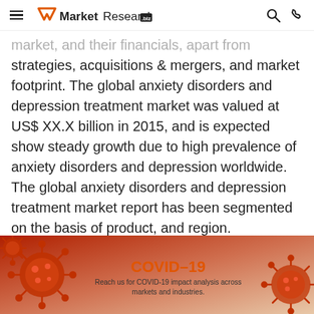MarketResearch.biz
market, and their financials, apart from strategies, acquisitions & mergers, and market footprint. The global anxiety disorders and depression treatment market was valued at US$ XX.X billion in 2015, and is expected show steady growth due to high prevalence of anxiety disorders and depression worldwide. The global anxiety disorders and depression treatment market report has been segmented on the basis of product, and region.
[Figure (infographic): COVID-19 banner with coronavirus particle illustrations on a red/orange gradient background. Text reads 'COVID-19' in orange and 'Reach us for COVID-19 impact analysis across markets and industries.']